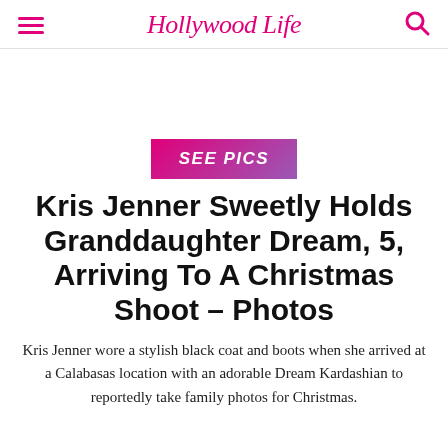HollywoodLife
SEE PICS
Kris Jenner Sweetly Holds Granddaughter Dream, 5, Arriving To A Christmas Shoot – Photos
Kris Jenner wore a stylish black coat and boots when she arrived at a Calabasas location with an adorable Dream Kardashian to reportedly take family photos for Christmas.